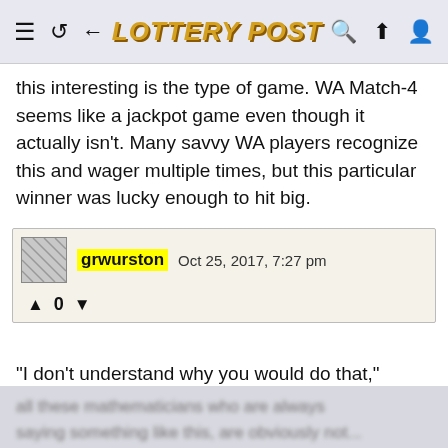LOTTERY POST
this interesting is the type of game. WA Match-4 seems like a jackpot game even though it actually isn't. Many savvy WA players recognize this and wager multiple times, but this particular winner was lucky enough to hit big.
grwurston  Oct 25, 2017, 7:27 pm
▲ 0 ▼
"I don't understand why you would do that," Christian Hansen, professor and department chairman of Eastern Washington University's Mathematics Department, said of using the same four numbers on 40 tickets. "It doesn't really make much sense."
all these mathematicians who are always saying something like this, are obviously not...